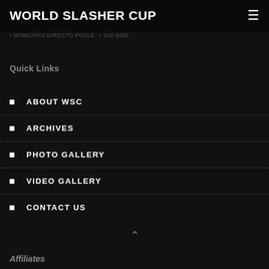WORLD SLASHER CUP
...address or phone: +63 02-3000
Quick Links
ABOUT WSC
ARCHIVES
PHOTO GALLERY
VIDEO GALLERY
CONTACT US
Affiliates